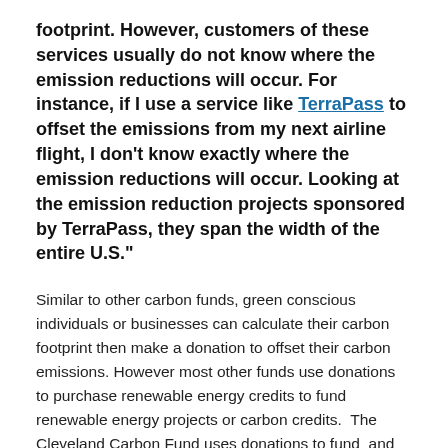footprint. However, customers of these services usually do not know where the emission reductions will occur. For instance, if I use a service like TerraPass to offset the emissions from my next airline flight, I don't know exactly where the emission reductions will occur. Looking at the emission reduction projects sponsored by TerraPass, they span the width of the entire U.S."
Similar to other carbon funds, green conscious individuals or businesses can calculate their carbon footprint then make a donation to offset their carbon emissions. However most other funds use donations to purchase renewable energy credits to fund renewable energy projects or carbon credits.  The Cleveland Carbon Fund uses donations to fund  and provide technical support for specific projects right here in